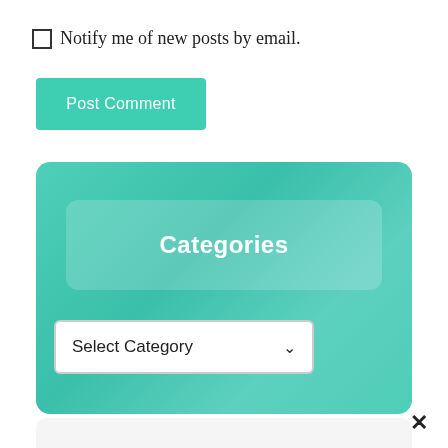Notify me of new posts by email.
Post Comment
Categories
Select Category
×